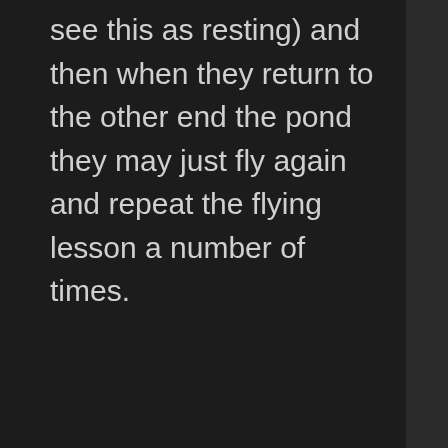see this as resting) and then when they return to the other end the pond they may just fly again and repeat the flying lesson a number of times.